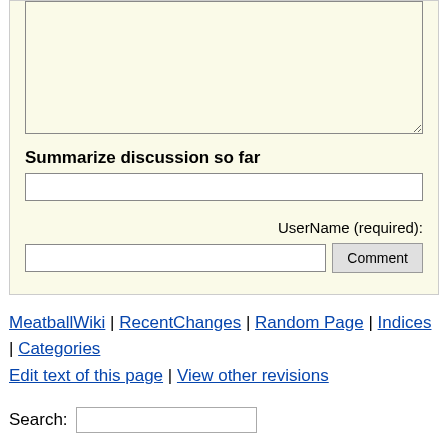[Figure (screenshot): A wiki comment form with a large textarea at top, a 'Summarize discussion so far' text input, a UserName (required) label with username input field and a Comment button]
Summarize discussion so far
UserName (required):
MeatballWiki | RecentChanges | Random Page | Indices | Categories
Edit text of this page | View other revisions
Search: